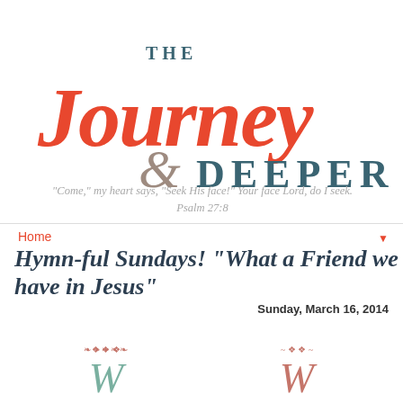[Figure (logo): The Journey Deeper blog logo with coral/red script 'Journey', teal uppercase 'THE' and 'DEEPER', and a brown decorative swirl ampersand]
"Come," my heart says, "Seek His face!" Your face Lord, do I seek. Psalm 27:8
Home
Hymn-ful Sundays! "What a Friend we have in Jesus"
Sunday, March 16, 2014
[Figure (illustration): Two decorative ornamental illustrations at the bottom of the page with cursive lettering, partially cropped]